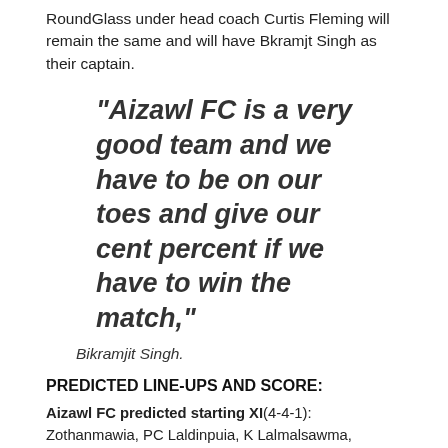RoundGlass under head coach Curtis Fleming will remain the same and will have Bkramjt Singh as their captain.
“Aizawl FC is a very good team and we have to be on our toes and give our cent percent if we have to win the match,”
Bikramjit Singh.
PREDICTED LINE-UPS AND SCORE:
Aizawl FC predicted starting XI(4-4-1): Zothanmawia, PC Laldinpuia, K Lalmalsawma, Lalthakima, Lalchungnunga, Lalfelkima,J Vanlalhruaia, D